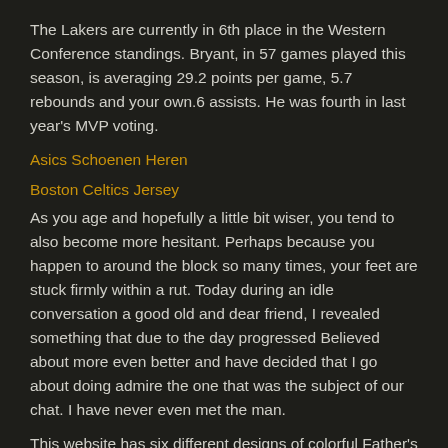The Lakers are currently in 6th place in the Western Conference standings. Bryant, in 57 games played this season, is averaging 29.2 points per game, 5.7 rebounds and your own.6 assists. He was fourth in last year's MVP voting.
Asics Schoenen Heren
Boston Celtics Jersey
As you age and hopefully a little bit wiser, you tend to also become more hesitant. Perhaps because you happen to around the block so many times, your feet are stuck firmly within a rut. Today during an idle conversation a good old and dear friend, I revealed something that due to the day progressed Believed about more even better and have decided that I go about doing admire the one that was the subject of our chat. I have never even met the man.
This website has six different designs of colorful Father's Day invites. These cards are perfect for cards from children. Each card is from a classic vogue. They are all in